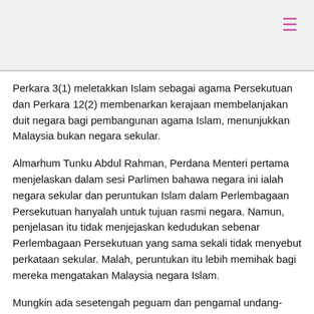Perkara 3(1) meletakkan Islam sebagai agama Persekutuan dan Perkara 12(2) membenarkan kerajaan membelanjakan duit negara bagi pembangunan agama Islam, menunjukkan Malaysia bukan negara sekular.
Almarhum Tunku Abdul Rahman, Perdana Menteri pertama menjelaskan dalam sesi Parlimen bahawa negara ini ialah negara sekular dan peruntukan Islam dalam Perlembagaan Persekutuan hanyalah untuk tujuan rasmi negara. Namun, penjelasan itu tidak menjejaskan kedudukan sebenar Perlembagaan Persekutuan yang sama sekali tidak menyebut perkataan sekular. Malah, peruntukan itu lebih memihak bagi mereka mengatakan Malaysia negara Islam.
Mungkin ada sesetengah peguam dan pengamal undang-undang mengatakan kes Che Omar Che Soh lwn Pendakwa Raya [1988] 2 MLJ 55 mengiyakan Malaysia bukan negara Islam dan mengesahkan negara ini adalah negara sekular.